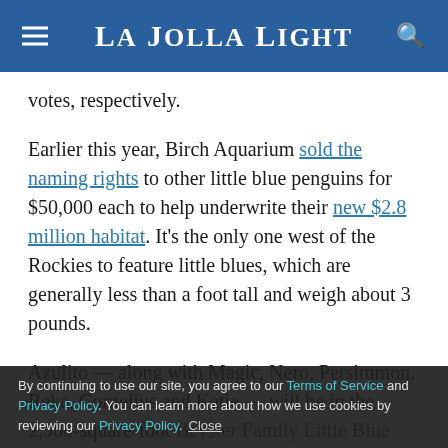La Jolla Light
votes, respectively.
Earlier this year, Birch Aquarium sold the naming rights to other little blue penguins for $50,000 each to help underwrite their new $2.8 million habitat. It’s the only one west of the Rockies to feature little blues, which are generally less than a foot tall and weigh about 3 pounds.
Azulito — along with Magic, Nero, Persimmon, Reka, Cornelius and Katie — will be in the 2,900-square-foot Beyster Family Little Blue Penguins exhibit, which plans to tell the penguins’ story from hatchlings to adults and highlight the challenges they face. It includes an
By continuing to use our site, you agree to our Terms of Service and Privacy Policy. You can learn more about how we use cookies by reviewing our Privacy Policy. Close